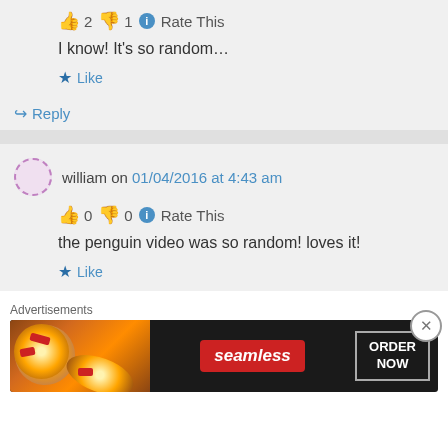👍 2 👎 1 ℹ Rate This
I know! It's so random…
★ Like
↪ Reply
william on 01/04/2016 at 4:43 am
👍 0 👎 0 ℹ Rate This
the penguin video was so random! loves it!
★ Like
Advertisements
[Figure (other): Seamless food delivery ad banner with pizza image, red seamless logo, and ORDER NOW button]